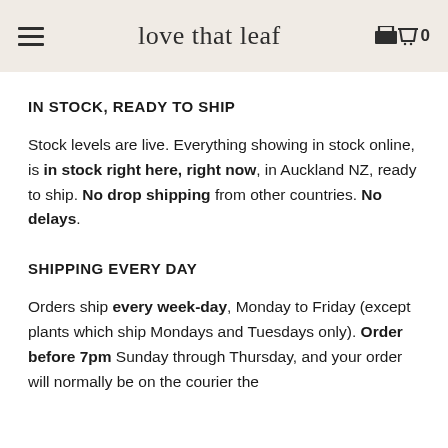love that leaf
IN STOCK, READY TO SHIP
Stock levels are live. Everything showing in stock online, is in stock right here, right now, in Auckland NZ, ready to ship. No drop shipping from other countries. No delays.
SHIPPING EVERY DAY
Orders ship every week-day, Monday to Friday (except plants which ship Mondays and Tuesdays only). Order before 7pm Sunday through Thursday, and your order will normally be on the courier the